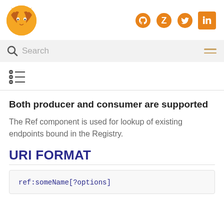[Figure (logo): Orange bird/fox logo]
[Figure (logo): Social media icons: GitHub, Zulip, Twitter, LinkedIn in orange]
Search
[Figure (other): Hamburger menu icon]
[Figure (other): Table of contents icon]
Both producer and consumer are supported
The Ref component is used for lookup of existing endpoints bound in the Registry.
URI FORMAT
ref:someName[?options]